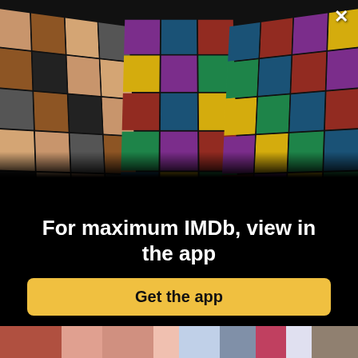[Figure (photo): IMDb app promotional screen. Top two-thirds shows a collage of actor headshots and movie/TV posters arranged in perspective panels converging toward a central vanishing point on a black background. Bottom portion shows a strip of colorful movie/show thumbnail images.]
For maximum IMDb, view in the app
Get the app